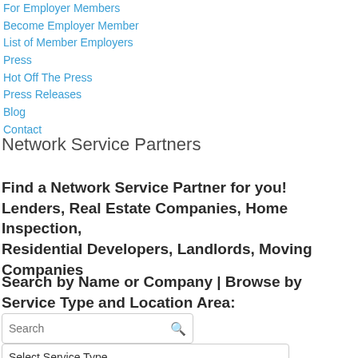For Employer Members
Become Employer Member
List of Member Employers
Press
Hot Off The Press
Press Releases
Blog
Contact
Network Service Partners
Find a Network Service Partner for you! Lenders, Real Estate Companies, Home Inspection, Residential Developers, Landlords, Moving Companies
Search by Name or Company | Browse by Service Type and Location Area:
Search
Select Service Type